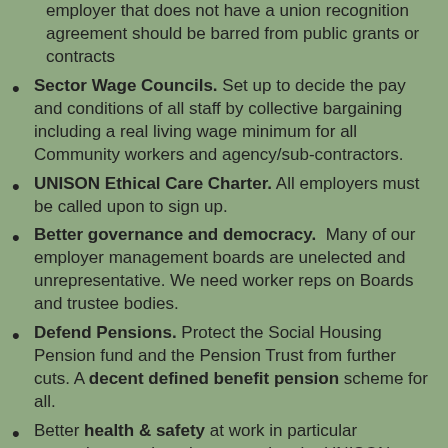No public money for 'union busters'. Any employer that does not have a union recognition agreement should be barred from public grants or contracts
Sector Wage Councils. Set up to decide the pay and conditions of all staff by collective bargaining including a real living wage minimum for all Community workers and agency/sub-contractors.
UNISON Ethical Care Charter. All employers must be called upon to sign up.
Better governance and democracy. Many of our employer management boards are unelected and unrepresentative. We need worker reps on Boards and trustee bodies.
Defend Pensions. Protect the Social Housing Pension fund and the Pension Trust from further cuts. A decent defined benefit pension scheme for all.
Better health & safety at work in particular protecting members by supporting the UNISON "End Violence at Work" charter.
Recruit & train more activists to support members